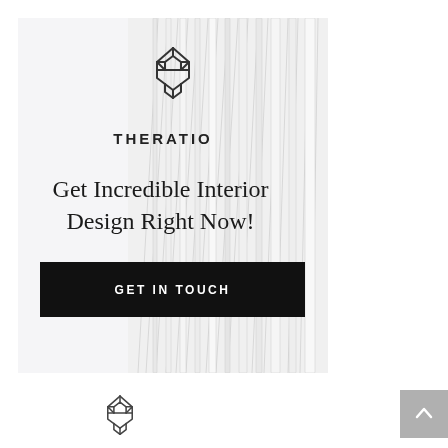[Figure (logo): Theratio geometric interlocking arrow/loop logo mark in outline style, top of card]
THERATIO
Get Incredible Interior Design Right Now!
[Figure (other): Black CTA button with text GET IN TOUCH]
[Figure (photo): White 3D rendered vertical stripes / architectural rods background on right side of card]
[Figure (logo): Theratio geometric interlocking arrow/loop logo mark in outline style, bottom of page]
[Figure (other): Grey scroll-to-top button with upward arrow, bottom right corner]